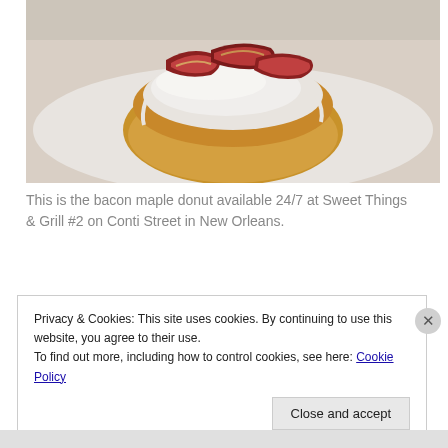[Figure (photo): Photo of a bacon maple donut with white glaze and crispy bacon strips on top, served on a white surface/plate.]
This is the bacon maple donut available 24/7 at Sweet Things & Grill #2 on Conti Street in New Orleans.
Privacy & Cookies: This site uses cookies. By continuing to use this website, you agree to their use. To find out more, including how to control cookies, see here: Cookie Policy